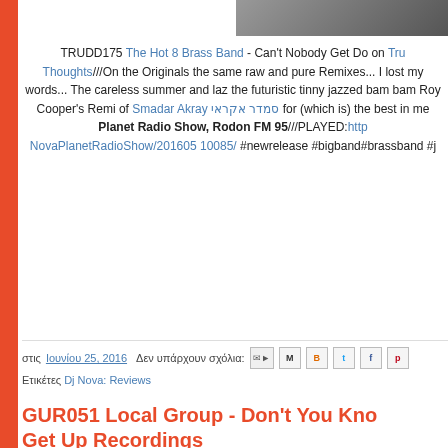[Figure (photo): Partial photo visible at top right of the page, dark tones]
TRUDD175 The Hot 8 Brass Band - Can't Nobody Get Do on Tru Thoughts///On the Originals the same raw and pure Remixes... I lost my words... The careless summer and laz the futuristic tinny jazzed bam bam Roy Cooper's Remi of Smadar Akray סמדר אקראי for (which is) the best in me Planet Radio Show, Rodon FM 95///PLAYED:http NovaPlanetRadioShow/201605 10085/ #newrelease #bigband#brassband #j
στις Ιουνίου 25, 2016   Δεν υπάρχουν σχόλια:
Ετικέτες Dj Nova: Reviews
GUR051 Local Group - Don't You Kno Get Up Recordings
[Figure (photo): Album cover for GUR051 Local Group - Don't You Know - Get Up Recordings, teal/blue color with text DON'T Y visible]